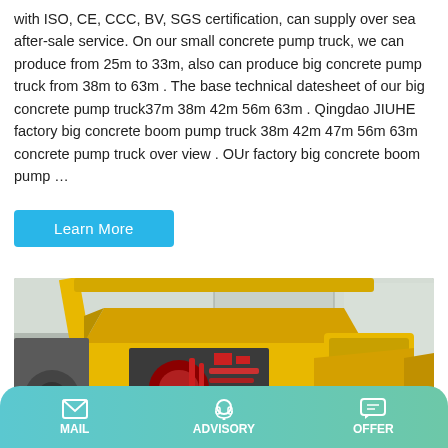with ISO, CE, CCC, BV, SGS certification, can supply over sea after-sale service. On our small concrete pump truck, we can produce from 25m to 33m, also can produce big concrete pump truck from 38m to 63m . The base technical datesheet of our big concrete pump truck37m 38m 42m 56m 63m . Qingdao JIUHE factory big concrete boom pump truck 38m 42m 47m 56m 63m concrete pump truck over view . OUr factory big concrete boom pump ...
Learn More
[Figure (photo): Yellow concrete pump machine with open hood showing engine components, photographed indoors in a factory/warehouse setting.]
MAIL  ADVISORY  OFFER